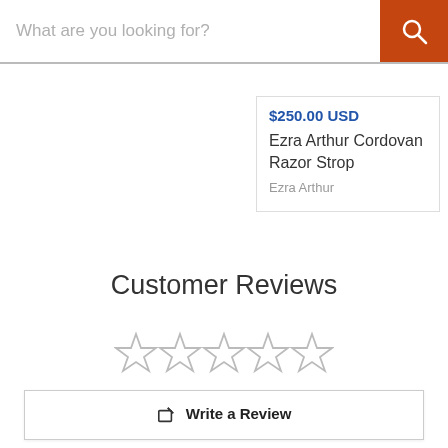[Figure (screenshot): Search bar with placeholder text 'What are you looking for?' and an orange search button with magnifying glass icon]
$250.00 USD
Ezra Arthur Cordovan Razor Strop
Ezra Arthur
Customer Reviews
[Figure (other): Five empty/outline star rating icons]
✎ Write a Review
💬 Ask a Question